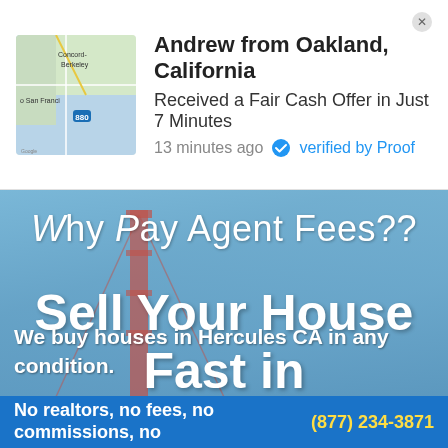[Figure (screenshot): Map thumbnail showing San Francisco Bay Area including Concord, Berkeley, San Francisco]
Andrew from Oakland, California
Received a Fair Cash Offer in Just 7 Minutes
13 minutes ago ✓ verified by Proof
[Figure (photo): Blurred background photo of Golden Gate Bridge area with blue-gray tones]
Why Pay Agent Fees??
Sell Your House Fast in Hercules, CA
We buy houses in Hercules CA in any condition.
No realtors, no fees, no commissions, no
(877) 234-3871